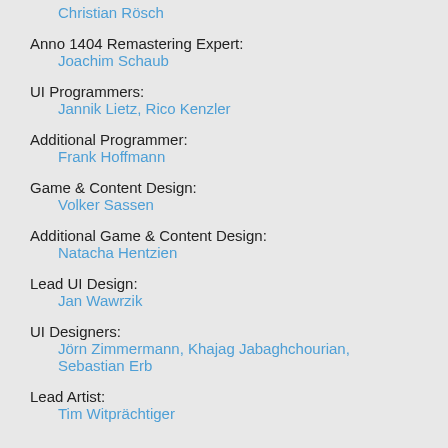Christian Rösch
Anno 1404 Remastering Expert:
Joachim Schaub
UI Programmers:
Jannik Lietz, Rico Kenzler
Additional Programmer:
Frank Hoffmann
Game & Content Design:
Volker Sassen
Additional Game & Content Design:
Natacha Hentzien
Lead UI Design:
Jan Wawrzik
UI Designers:
Jörn Zimmermann, Khajag Jabaghchourian, Sebastian Erb
Lead Artist:
Tim Witprächtiger